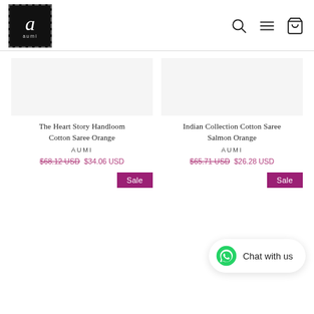[Figure (logo): Aumi brand logo: black square with dashed border, stylized italic 'a' in white, 'aumi' text below]
[Figure (illustration): Navigation icons: search (magnifying glass), menu (hamburger lines), cart (shopping bag)]
The Heart Story Handloom Cotton Saree Orange
AUMI
$68.12 USD  $34.06 USD
Sale
Indian Collection Cotton Saree Salmon Orange
AUMI
$65.71 USD  $26.28 USD
Sale
[Figure (illustration): WhatsApp Chat with us widget in bottom right corner]